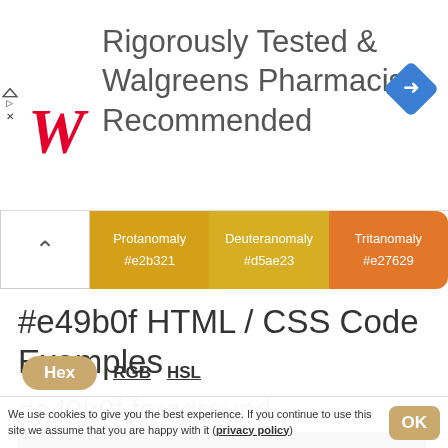[Figure (illustration): Walgreens advertisement banner: Walgreens logo (stylized W in red), text 'Rigorously Tested & Walgreens Pharmacist Recommended', blue diamond navigation icon, and small ad indicator icon on the left.]
| Protanomaly | Deuteranomaly | Tritanomaly |
| --- | --- | --- |
| #e2b321 | #d5ae23 | #e27629 |
#e49b0f HTML / CSS Code Examples
Hex  RGB  HSL
#e49b0f foreground
““ The emotions are sometimes so strong that I work
We use cookies to give you the best experience. If you continue to use this site we assume that you are happy with it (privacy policy)